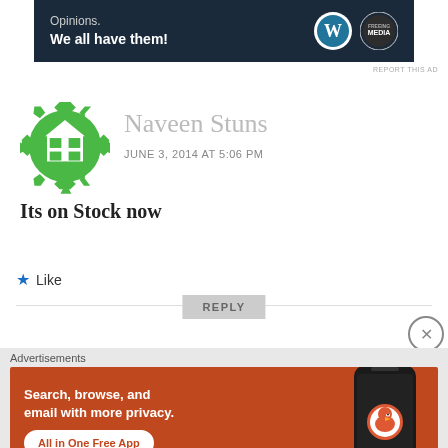[Figure (illustration): Top banner advertisement: dark navy background with text 'Opinions. We all have them!' and WordPress/Press This logos]
REPORT THIS AD
[Figure (logo): Green decorative avatar icon shaped like a gear with a house/grid pattern in the center]
Naveen Stuns
JUNE 3, 2014 AT 5:06 PM
Its on Stock now
★ Like
REPLY
Advertisements
[Figure (illustration): DuckDuckGo advertisement: orange background with text 'Search, browse, and email with more privacy. All in One Free App' and phone mockup with DuckDuckGo logo]